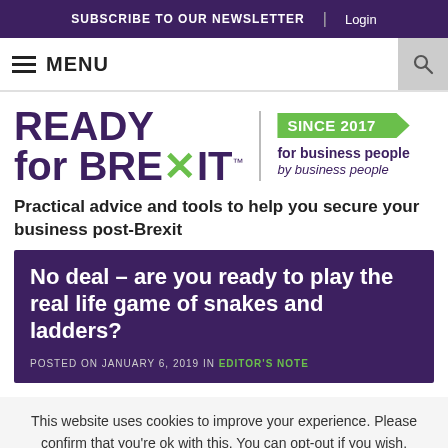SUBSCRIBE TO OUR NEWSLETTER | Login
≡ MENU
[Figure (logo): Ready for Brexit logo with 'SINCE 2017 for business people by business people' tagline]
Practical advice and tools to help you secure your business post-Brexit
No deal – are you ready to play the real life game of snakes and ladders?
POSTED ON JANUARY 6, 2019 IN EDITOR'S NOTE
This website uses cookies to improve your experience. Please confirm that you're ok with this. You can opt-out if you wish.